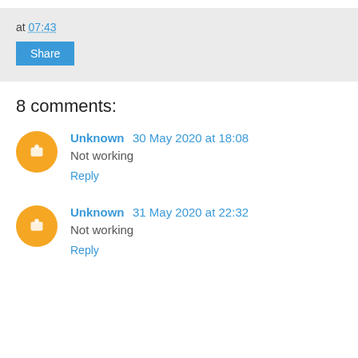at 07:43
Share
8 comments:
Unknown 30 May 2020 at 18:08
Not working
Reply
Unknown 31 May 2020 at 22:32
Not working
Reply